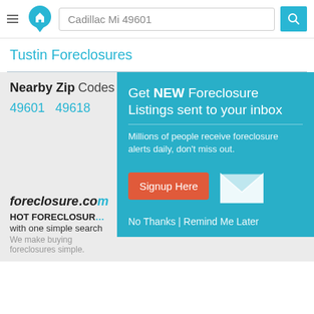Cadillac Mi 49601
Tustin Foreclosures
Nearby Zip Codes
49601   49618
[Figure (screenshot): Popup modal on teal background: 'Get NEW Foreclosure Listings sent to your inbox. Millions of people receive foreclosure alerts daily, don't miss out.' with Signup Here button and mail icon, and 'No Thanks | Remind Me Later' link.]
foreclosure.com
HOT FORECLOSURES with one simple search
We make buying foreclosures simple.